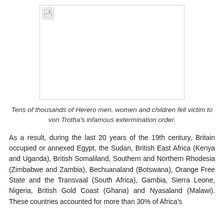[Figure (photo): A broken/missing image placeholder showing a small broken image icon in the upper-left corner of a white rectangle with a light gray border.]
Tens of thousands of Herero men, women and children fell victim to von Trotha's infamous extermination order.
As a result, during the last 20 years of the 19th century, Britain occupied or annexed Egypt, the Sudan, British East Africa (Kenya and Uganda), British Somaliland, Southern and Northern Rhodesia (Zimbabwe and Zambia), Bechuanaland (Botswana), Orange Free State and the Transvaal (South Africa), Gambia, Sierra Leone, Nigeria, British Gold Coast (Ghana) and Nyasaland (Malawi). These countries accounted for more than 30% of Africa's